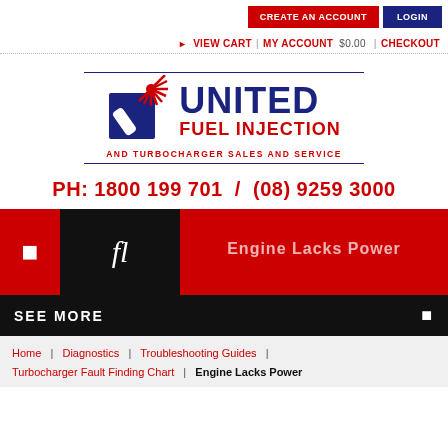CREATE AN ACCOUNT | LOGIN
VIEW CART | MY ACCOUNT $0.00 | CHECKOUT
[Figure (logo): United Fuel Injection and Turbocharger Sales and Service logo with red burst/turbine icon and blue square icon]
PH: 1800 199 701 / (08) 9259 3000
[Figure (screenshot): Red and black navigation banner area with icons and partial text 'Engine Lacks Power']
SEE MORE
Home | Diagnostics | Troubleshooting Guides | Turbocharger Fault Finding Chart | Engine Lacks Power